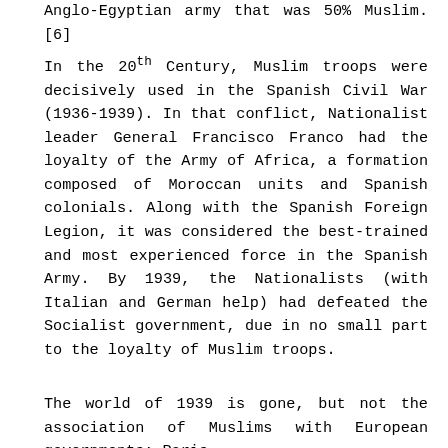Anglo-Egyptian army that was 50% Muslim.[6]
In the 20th Century, Muslim troops were decisively used in the Spanish Civil War (1936-1939). In that conflict, Nationalist leader General Francisco Franco had the loyalty of the Army of Africa, a formation composed of Moroccan units and Spanish colonials. Along with the Spanish Foreign Legion, it was considered the best-trained and most experienced force in the Spanish Army. By 1939, the Nationalists (with Italian and German help) had defeated the Socialist government, due in no small part to the loyalty of Muslim troops.
The world of 1939 is gone, but not the association of Muslims with European governments: Paris